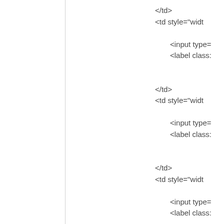</td>
<td style="widt

    <input type=
    <label class:


</td>
<td style="widt

    <input type=
    <label class:


</td>
<td style="widt

    <input type=
    <label class:
[Figure (other): Vertical light gray dividing line separating left blank area from right code content area]